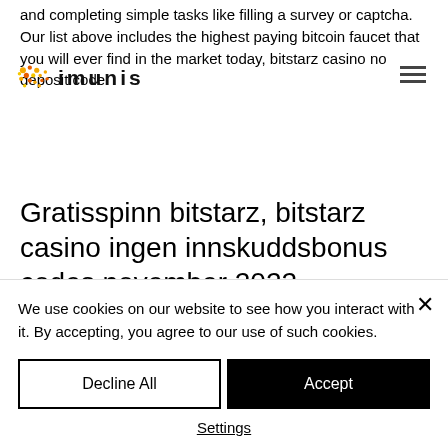and completing simple tasks like filling a survey or captcha. Our list above includes the highest paying bitcoin faucet that you will ever find in the market today, bitstarz casino no deposit code.
[Figure (logo): imunis logo with colorful dots pattern on left and bold text 'imunis' on right, plus hamburger menu icon on far right]
Gratisspinn bitstarz, bitstarz casino ingen innskuddsbonus codes november 2022
There's a max daily withdrawal limit of $10. This site has always been very transparent,
We use cookies on our website to see how you interact with it. By accepting, you agree to our use of such cookies.
Decline All
Accept
Settings